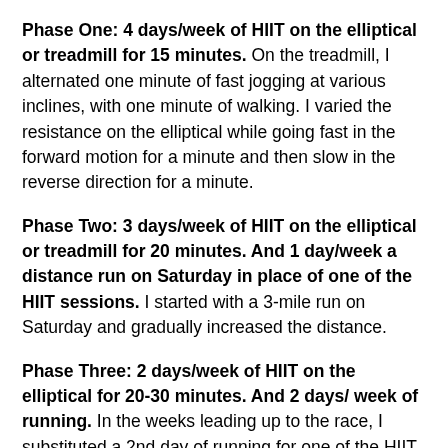Phase One: 4 days/week of HIIT on the elliptical or treadmill for 15 minutes. On the treadmill, I alternated one minute of fast jogging at various inclines, with one minute of walking. I varied the resistance on the elliptical while going fast in the forward motion for a minute and then slow in the reverse direction for a minute.
Phase Two: 3 days/week of HIIT on the elliptical or treadmill for 20 minutes. And 1 day/week a distance run on Saturday in place of one of the HIIT sessions. I started with a 3-mile run on Saturday and gradually increased the distance.
Phase Three: 2 days/week of HIIT on the elliptical for 20-30 minutes. And 2 days/ week of running. In the weeks leading up to the race, I substituted a 2nd day of running for one of the HIIT sessions. On Wednesdays, I would run 3 miles for time, trying to decrease my time a little each week. On Saturdays, I continued my longer